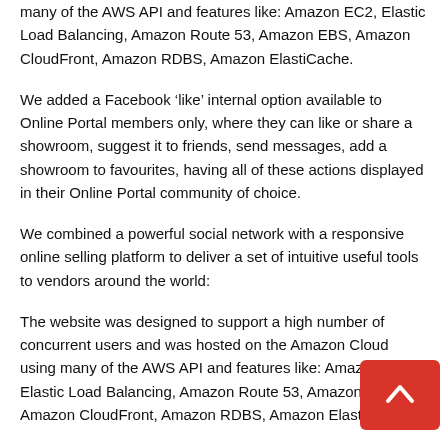many of the AWS API and features like: Amazon EC2, Elastic Load Balancing, Amazon Route 53, Amazon EBS, Amazon CloudFront, Amazon RDBS, Amazon ElastiCache.
We added a Facebook ‘like’ internal option available to Online Portal members only, where they can like or share a showroom, suggest it to friends, send messages, add a showroom to favourites, having all of these actions displayed in their Online Portal community of choice.
We combined a powerful social network with a responsive online selling platform to deliver a set of intuitive useful tools to vendors around the world:
The website was designed to support a high number of concurrent users and was hosted on the Amazon Cloud using many of the AWS API and features like: Amazon EC2, Elastic Load Balancing, Amazon Route 53, Amazon EBS, Amazon CloudFront, Amazon RDBS, Amazon ElastiCache.
We added a Facebook ‘like’ internal option available to Online Portal members only, where they can like or share a showroom, suggest it to friends, send messages, add a showroom to favourites, having all of these actions displayed in their Online